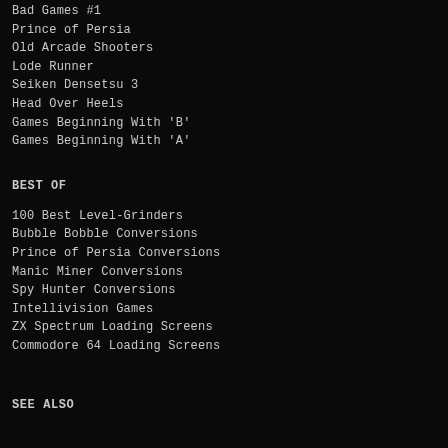Bad Games #1
Prince of Persia
Old Arcade Shooters
Lode Runner
Seiken Densetsu 3
Head Over Heels
Games Beginning With 'B'
Games Beginning With 'A'
BEST OF
100 Best Level-Grinders
Bubble Bobble Conversions
Prince of Persia Conversions
Manic Miner Conversions
Spy Hunter Conversions
Intellivision Games
ZX Spectrum Loading Screens
Commodore 64 Loading Screens
SEE ALSO